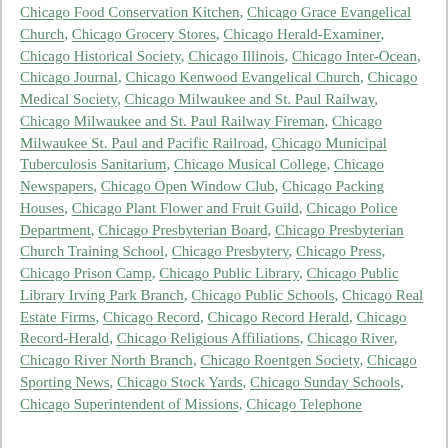Chicago Food Conservation Kitchen, Chicago Grace Evangelical Church, Chicago Grocery Stores, Chicago Herald-Examiner, Chicago Historical Society, Chicago Illinois, Chicago Inter-Ocean, Chicago Journal, Chicago Kenwood Evangelical Church, Chicago Medical Society, Chicago Milwaukee and St. Paul Railway, Chicago Milwaukee and St. Paul Railway Fireman, Chicago Milwaukee St. Paul and Pacific Railroad, Chicago Municipal Tuberculosis Sanitarium, Chicago Musical College, Chicago Newspapers, Chicago Open Window Club, Chicago Packing Houses, Chicago Plant Flower and Fruit Guild, Chicago Police Department, Chicago Presbyterian Board, Chicago Presbyterian Church Training School, Chicago Presbytery, Chicago Press, Chicago Prison Camp, Chicago Public Library, Chicago Public Library Irving Park Branch, Chicago Public Schools, Chicago Real Estate Firms, Chicago Record, Chicago Record Herald, Chicago Record-Herald, Chicago Religious Affiliations, Chicago River, Chicago River North Branch, Chicago Roentgen Society, Chicago Sporting News, Chicago Stock Yards, Chicago Sunday Schools, Chicago Superintendent of Missions, Chicago Telephone